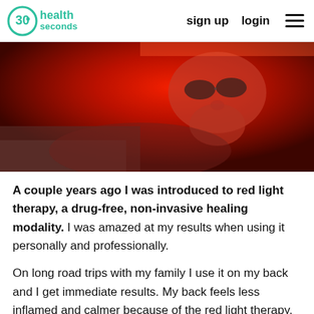30 seconds health | sign up | login
[Figure (photo): Person lying down receiving red light therapy treatment, bathed in intense red light, wearing eye protection]
A couple years ago I was introduced to red light therapy, a drug-free, non-invasive healing modality. I was amazed at my results when using it personally and professionally.
On long road trips with my family I use it on my back and I get immediate results. My back feels less inflamed and calmer because of the red light therapy. The light penetrates deep into the muscles and